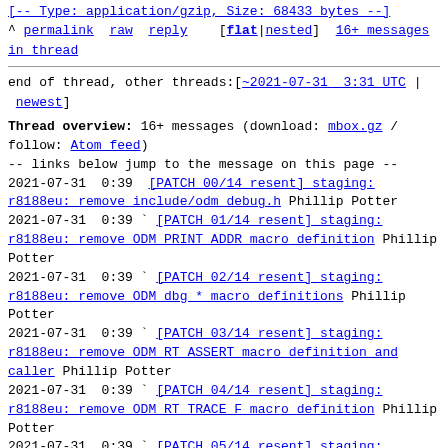[-- Type: application/gzip, Size: 68433 bytes --]
^ permalink  raw  reply   [flat|nested]  16+ messages in thread
end of thread, other threads:[~2021-07-31  3:31 UTC | newest]
Thread overview: 16+ messages (download: mbox.gz / follow: Atom feed)
-- links below jump to the message on this page --
2021-07-31  0:39 [PATCH 00/14 resent] staging: r8188eu: remove include/odm debug.h  Phillip Potter
2021-07-31  0:39 ` [PATCH 01/14 resent] staging: r8188eu: remove ODM PRINT ADDR macro definition  Phillip Potter
2021-07-31  0:39 ` [PATCH 02/14 resent] staging: r8188eu: remove ODM dbg * macro definitions  Phillip Potter
2021-07-31  0:39 ` [PATCH 03/14 resent] staging: r8188eu: remove ODM RT ASSERT macro definition and caller  Phillip Potter
2021-07-31  0:39 ` [PATCH 04/14 resent] staging: r8188eu: remove ODM RT TRACE F macro definition  Phillip Potter
2021-07-31  0:39 ` [PATCH 05/14 resent] staging: r8188eu: remove ASSERT ifndef and "  Phillip Potter
2021-07-31  0:39 ` [PATCH 06/14 resent] staging: r8188eu: remove ODM RT TRACE calls from b...